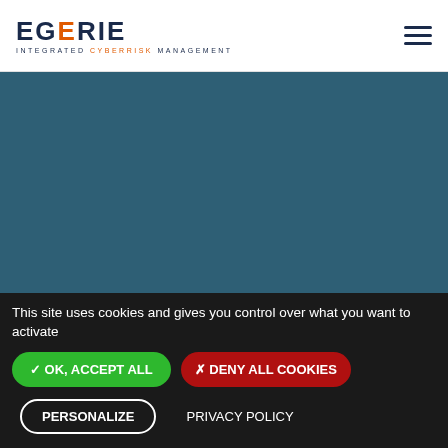[Figure (logo): Egerie logo — 'EGERIE' in dark navy bold letters with orange accent on second E, subtitle 'INTEGRATED CYBERRISK MANAGEMENT' in small caps with orange 'CYBERRISK']
[Figure (illustration): Hamburger menu icon — three horizontal dark navy lines]
[Figure (photo): Dark teal/slate blue hero background image]
FAQ
This site uses cookies and gives you control over what you want to activate
✓ OK, ACCEPT ALL
✗ DENY ALL COOKIES
PERSONALIZE
PRIVACY POLICY